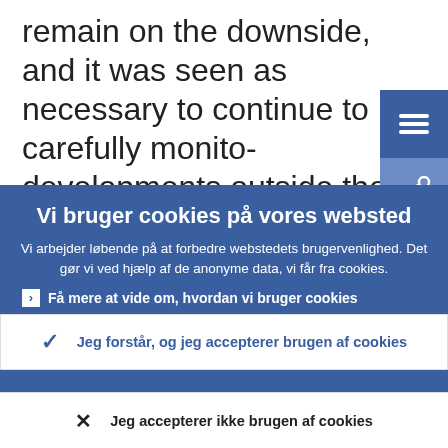remain on the downside, and it was seen as necessary to continue to carefully monitor developments outside the euro area, including geopolitical risks with
Vi bruger cookies på vores websted
Vi arbejder løbende på at forbedre webstedets brugervenlighed. Det gør vi ved hjælp af de anonyme data, vi får fra cookies.
Få mere at vide om, hvordan vi bruger cookies
Jeg forstår, og jeg accepterer brugen af cookies
Jeg accepterer ikke brugen af cookies